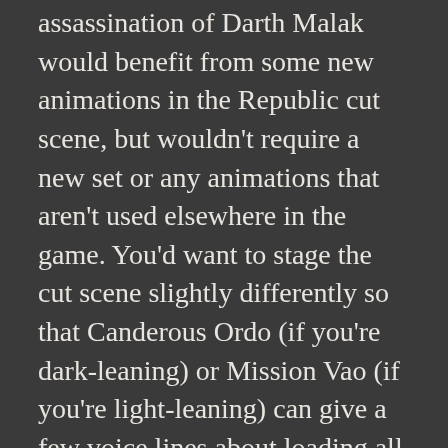assassination of Darth Malak would benefit from some new animations in the Republic cut scene, but wouldn't require a new set or any animations that aren't used elsewhere in the game. You'd want to stage the cut scene slightly differently so that Canderous Ordo (if you're dark-leaning) or Mission Vao (if you're light-leaning) can give a few voice lines about loading all the credits up onto the Ebon Hawk, since the player character is unvoiced (the player clicks on their dialogue options but no lines are ever spoken).
Setting the player up for these different endings could also be accomplished entirely with the existing conversations on Rakata Prime, first at the temple summit and then on